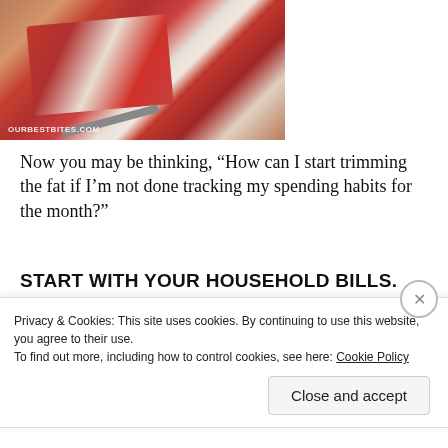[Figure (photo): Photo of a raw ribeye steak with a knife, with watermark text OURBESTBITES.COM at bottom left]
Now you may be thinking, “How can I start trimming the fat if I’m not done tracking my spending habits for the month?”
START WITH YOUR HOUSEHOLD BILLS.
You should already know your monthly mortgage amount
Privacy & Cookies: This site uses cookies. By continuing to use this website, you agree to their use.
To find out more, including how to control cookies, see here: Cookie Policy
Close and accept